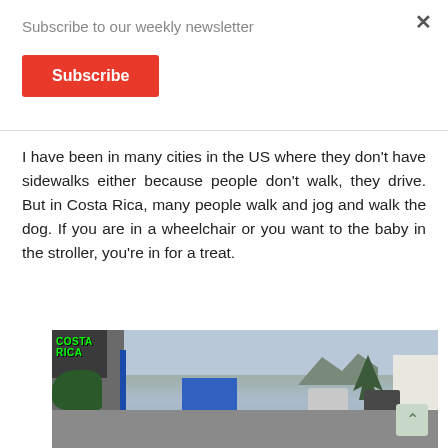Subscribe to our weekly newsletter
Subscribe
I have been in many cities in the US where they don't have sidewalks either because people don't walk, they drive. But in Costa Rica, many people walk and jog and walk the dog. If you are in a wheelchair or you want to the baby in the stroller, you're in for a treat.
[Figure (photo): Street scene in Costa Rica showing a wall with green COSTA RICA text overlay, a blue fence, a bus and cars on the road, mountains in the background, trees, and a white building on the right side.]